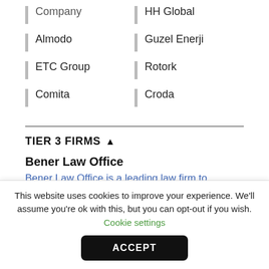Company
HH Global
Almodo
Guzel Enerji
ETC Group
Rotork
Comita
Croda
TIER 3 FIRMS
Bener Law Office
Bener Law Office is a leading law firm to...
This website uses cookies to improve your experience. We'll assume you're ok with this, but you can opt-out if you wish. Cookie settings